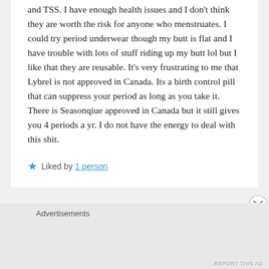and TSS. I have enough health issues and I don't think they are worth the risk for anyone who menstruates. I could try period underwear though my butt is flat and I have trouble with lots of stuff riding up my butt lol but I like that they are reusable. It's very frustrating to me that Lybrel is not approved in Canada. Its a birth control pill that can suppress your period as long as you take it. There is Seasonqiue approved in Canada but it still gives you 4 periods a yr. I do not have the energy to deal with this shit.
★ Liked by 1 person
Advertisements